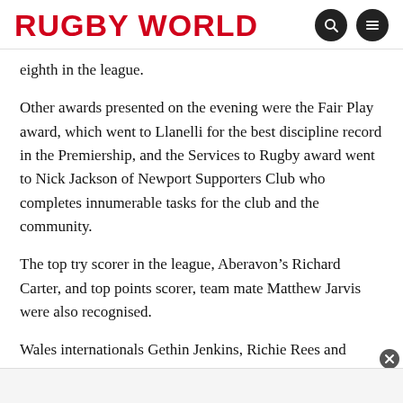RUGBY WORLD
eighth in the league.
Other awards presented on the evening were the Fair Play award, which went to Llanelli for the best discipline record in the Premiership, and the Services to Rugby award went to Nick Jackson of Newport Supporters Club who completes innumerable tasks for the club and the community.
The top try scorer in the league, Aberavon’s Richard Carter, and top points scorer, team mate Matthew Jarvis were also recognised.
Wales internationals Gethin Jenkins, Richie Rees and Jonathan Thomas attended the event and presented award